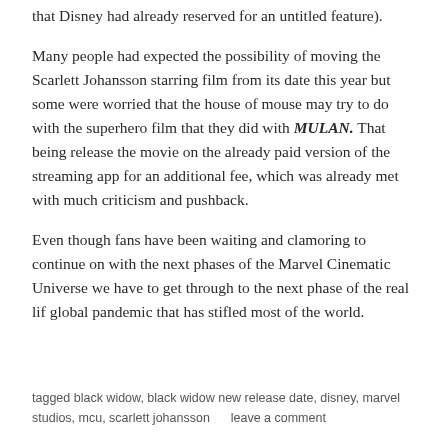that Disney had already reserved for an untitled feature).
Many people had expected the possibility of moving the Scarlett Johansson starring film from its date this year but some were worried that the house of mouse may try to do with the superhero film that they did with MULAN. That being release the movie on the already paid version of the streaming app for an additional fee, which was already met with much criticism and pushback.
Even though fans have been waiting and clamoring to continue on with the next phases of the Marvel Cinematic Universe we have to get through to the next phase of the real lif global pandemic that has stifled most of the world.
tagged black widow, black widow new release date, disney, marvel studios, mcu, scarlett johansson     leave a comment